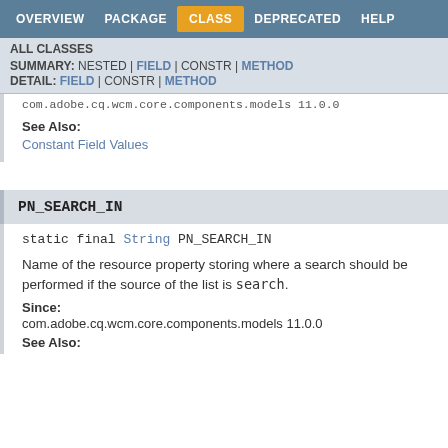OVERVIEW  PACKAGE  CLASS  DEPRECATED  HELP
ALL CLASSES
SUMMARY: NESTED | FIELD | CONSTR | METHOD
DETAIL: FIELD | CONSTR | METHOD
com.adobe.cq.wcm.core.components.models 11.0.0
See Also:
Constant Field Values
PN_SEARCH_IN
static final String PN_SEARCH_IN
Name of the resource property storing where a search should be performed if the source of the list is search.
Since:
com.adobe.cq.wcm.core.components.models 11.0.0
See Also: